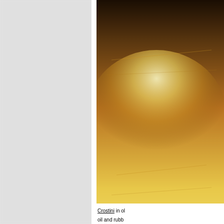[Figure (photo): Close-up photograph of golden-brown toasted crostini bread slices on a wire cooling rack, showing crispy toasted surface with olive oil sheen]
Crostini in olive oil and rubb...